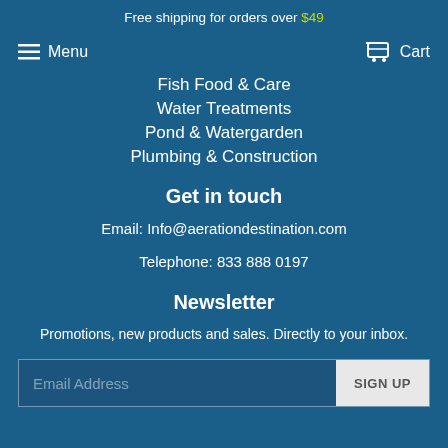Free shipping for orders over $49
Menu
Cart
Fish Food & Care
Water Treatments
Pond & Watergarden
Plumbing & Construction
Get in touch
Email: Info@aerationdestination.com
Telephone: 833 888 0197
Newsletter
Promotions, new products and sales. Directly to your inbox.